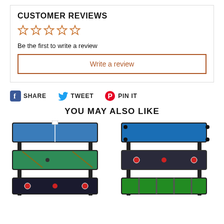CUSTOMER REVIEWS
[Figure (illustration): Five empty gold star rating icons]
Be the first to write a review
Write a review
SHARE  TWEET  PIN IT
YOU MAY ALSO LIKE
[Figure (photo): Multi-game table showing ping pong, billiards, and air hockey configurations stacked]
[Figure (photo): Multi-game table showing billiards (blue), air hockey, and foosball configurations stacked]